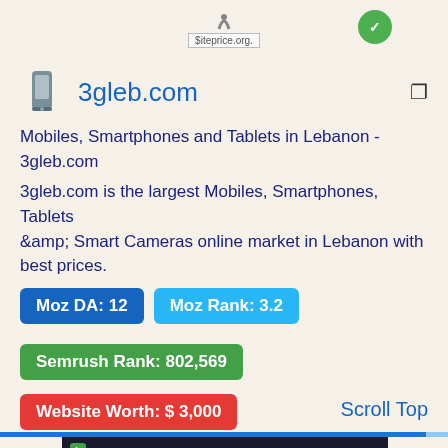[Figure (screenshot): siteprice.org logo/badge at top of page with green circle icon]
3gleb.com
Mobiles, Smartphones and Tablets in Lebanon - 3gleb.com
3gleb.com is the largest Mobiles, Smartphones, Tablets & Smart Cameras online market in Lebanon with best prices.
Moz DA: 12    Moz Rank: 3.2
Semrush Rank: 802,569
Website Worth: $ 3,000
Scroll Top
[Figure (screenshot): bestsongs.pk website screenshot showing dark themed music website with logo, search bar, navigation and loading indicator]